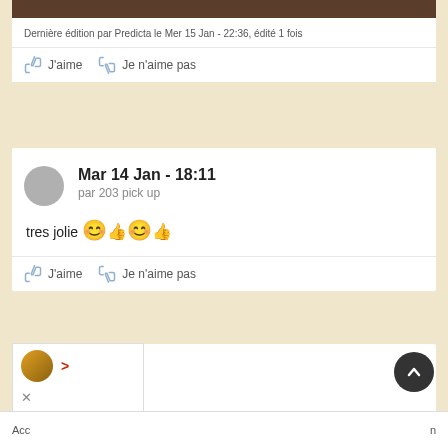[Figure (screenshot): Top portion of a dark brown image strip]
Dernière édition par Predicta le Mer 15 Jan - 22:36, édité 1 fois
J'aime   Je n'aime pas
Mar 14 Jan - 18:11
par 203 pick up
tres jolie 😊👍😊👍
J'aime   Je n'aime pas
[Figure (screenshot): Third comment card partially visible with popup overlay, scroll-to-top button, and bottom navigation with Accueil label]
Acc   n